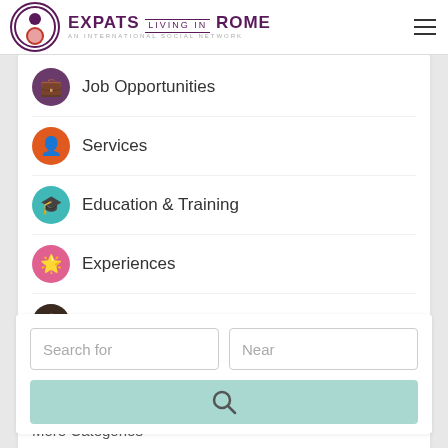[Figure (logo): Expats Living in Rome logo with circular icon and text]
Job Opportunities
Services
Education & Training
Experiences
Accommodation & Rentals
Food & Drink
More Categories
Search for
Near